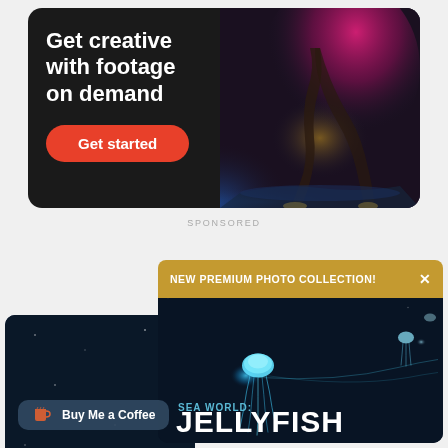[Figure (illustration): Advertisement banner with dark background showing a dancer with colorful pink/magenta powder explosion, text reads 'Get creative with footage on demand' with a red 'Get started' button]
SPONSORED
[Figure (illustration): NEW PREMIUM PHOTO COLLECTION!X notification banner in gold/amber color]
[Figure (illustration): Dark blue ocean themed card showing glowing jellyfish with text 'SEA WORLD: JELLYFISH']
[Figure (illustration): Dark blue background card partially visible on the left]
Buy Me a Coffee